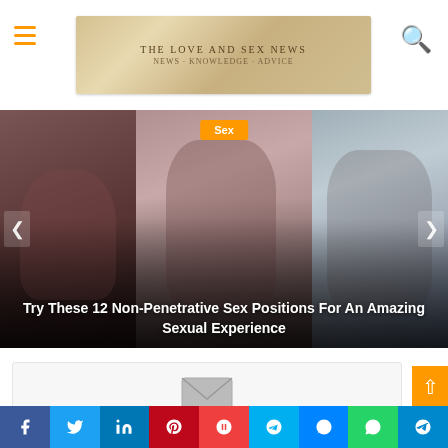THE LOVE AND SEX NEWS
[Figure (photo): Website header/navigation bar with hamburger menu icon on left, 'The Love and Sex News' banner logo in center, and search icon on right]
[Figure (photo): Image slider showing three intimate couple photos with overlaid 'Sex' category tag and article title 'Try These 12 Non-Penetrative Sex Positions For An Amazing Sexual Experience' with left/right navigation arrows]
Try These 12 Non-Penetrative Sex Positions For An Amazing Sexual Experience
[Figure (illustration): Email/newsletter signup box with envelope icon]
Don't Want To Miss Out On The Latest, News, Knowledge, Advice & Opinions On The Two Things That Everyone Wants? Well Then Subscribe To Our Newsletter if You Want
[Figure (infographic): Social sharing bar at bottom with Facebook, Twitter, LinkedIn, Pinterest, Pocket, Skype, Messenger, WhatsApp, Telegram buttons]